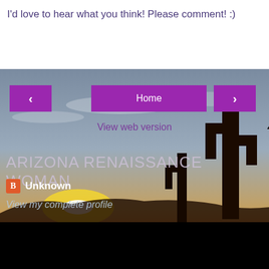I'd love to hear what you think! Please comment! :)
[Figure (screenshot): Navigation bar with left arrow button, Home button (purple), and right arrow button (purple), with 'View web version' link below]
[Figure (photo): Arizona desert sunset scene with saguaro cactus silhouettes against an orange and purple sky]
ARIZONA RENAISSANCE WOMAN
Unknown
View my complete profile